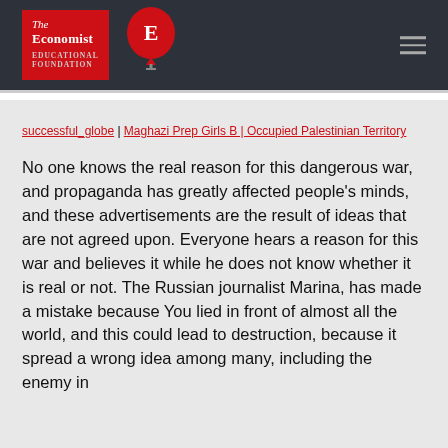The Economist Educational Foundation
successful_globe | Maghazi Prep Girls B | Occupied Palestinian Territory
No one knows the real reason for this dangerous war, and propaganda has greatly affected people's minds, and these advertisements are the result of ideas that are not agreed upon. Everyone hears a reason for this war and believes it while he does not know whether it is real or not. The Russian journalist Marina, has made a mistake because You lied in front of almost all the world, and this could lead to destruction, because it spread a wrong idea among many, including the enemy in